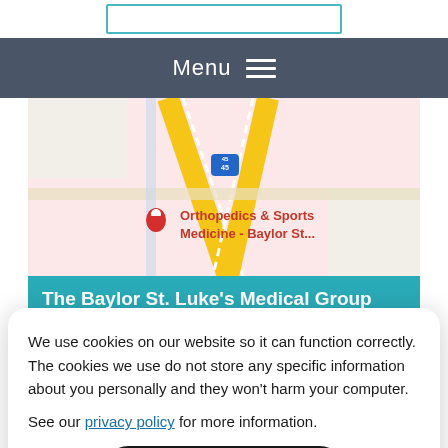Menu
[Figure (map): Google Maps screenshot showing location of Orthopedics & Sports Medicine - Baylor St... with a red location pin, near Interstate 45]
The Baylor St. Luke's Medical Group
17198 St Lukes Way
Suite 600
The Woodlands, TX 77384
We use cookies on our website so it can function correctly. The cookies we use do not store any specific information about you personally and they won't harm your computer.
See our privacy policy for more information.
Accept
Office Hours